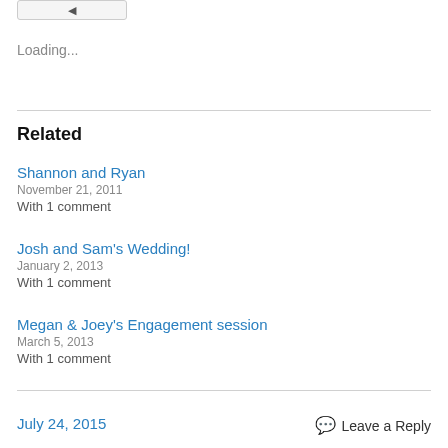[Figure (other): Small back/left arrow button widget]
Loading...
Related
Shannon and Ryan
November 21, 2011
With 1 comment
Josh and Sam's Wedding!
January 2, 2013
With 1 comment
Megan & Joey's Engagement session
March 5, 2013
With 1 comment
July 24, 2015
Leave a Reply